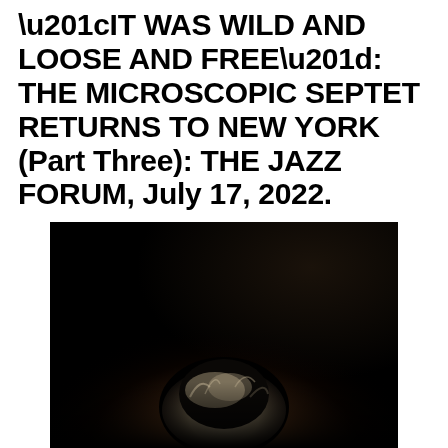“IT WAS WILD AND LOOSE AND FREE”: THE MICROSCOPIC SEPTET RETURNS TO NEW YORK (Part Three): THE JAZZ FORUM, July 17, 2022.
[Figure (photo): Dark photograph showing the top/back of a person's head with white/grey hair, illuminated from below against a very dark background, taken at a jazz venue.]